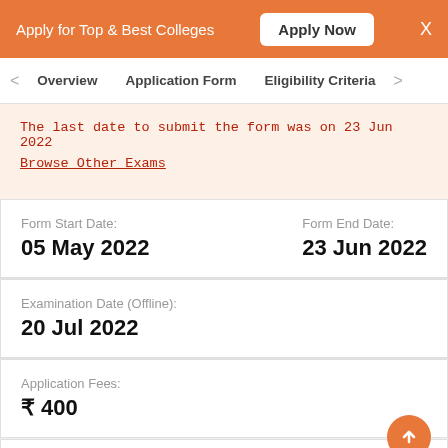Apply for Top & Best Colleges  Apply Now  X
Overview  Application Form  Eligibility Criteria
The last date to submit the form was on 23 Jun 2022
Browse Other Exams
| Form Start Date: | Form End Date: |
| --- | --- |
| 05 May 2022 | 23 Jun 2022 |
| Examination Date (Offline): |
| --- |
| 20 Jul 2022 |
| Application Fees: |
| --- |
| ₹ 400 |